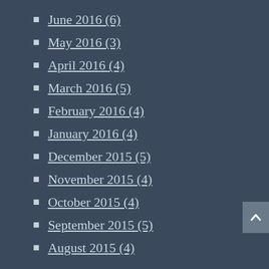June 2016 (6)
May 2016 (3)
April 2016 (4)
March 2016 (5)
February 2016 (4)
January 2016 (4)
December 2015 (5)
November 2015 (4)
October 2015 (4)
September 2015 (5)
August 2015 (4)